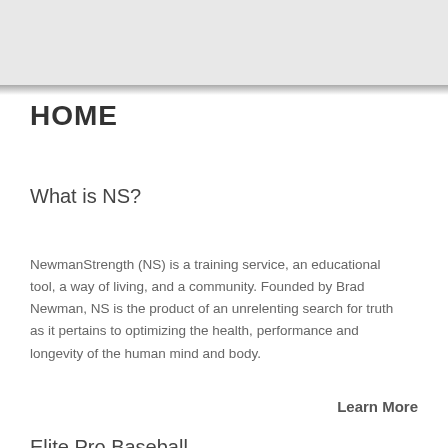HOME
What is NS?
NewmanStrength (NS) is a training service, an educational tool, a way of living, and a community. Founded by Brad Newman, NS is the product of an unrelenting search for truth as it pertains to optimizing the health, performance and longevity of the human mind and body.
Learn More
Elite Pro Baseball
NewmanStrength Performance Training is the off-